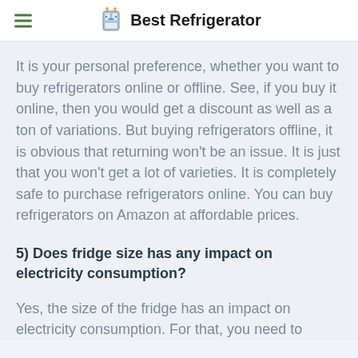Best Refrigerator
It is your personal preference, whether you want to buy refrigerators online or offline. See, if you buy it online, then you would get a discount as well as a ton of variations. But buying refrigerators offline, it is obvious that returning won't be an issue. It is just that you won't get a lot of varieties. It is completely safe to purchase refrigerators online. You can buy refrigerators on Amazon at affordable prices.
5) Does fridge size has any impact on electricity consumption?
Yes, the size of the fridge has an impact on electricity consumption. For that, you need to